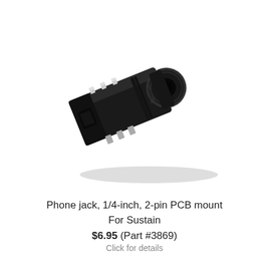[Figure (photo): A black 1/4-inch phone jack, 2-pin PCB mount connector photographed at an angle on a white background with a soft shadow. The component is a rectangular black plastic body with silver metal contacts on top and a cylindrical threaded socket opening on the right end.]
Phone jack, 1/4-inch, 2-pin PCB mount
For Sustain
$6.95 (Part #3869)
Click for details